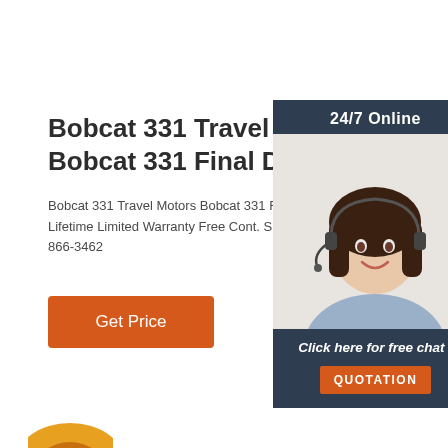Bobcat 331 Travel Motor Who Bobcat 331 Final Drive ...
Bobcat 331 Travel Motors Bobcat 331 Final Di Lifetime Limited Warranty Free Cont. Shipping 866-3462
[Figure (other): Orange 'Get Price' button]
[Figure (other): Chat widget with '24/7 Online' banner, woman with headset, 'Click here for free chat!' text and orange QUOTATION button]
[Figure (other): Partial yellow construction equipment icon at bottom left]